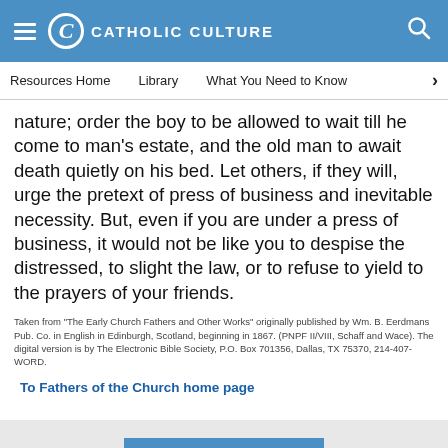Catholic Culture
Resources Home | Library | What You Need to Know
nature; order the boy to be allowed to wait till he come to man's estate, and the old man to await death quietly on his bed. Let others, if they will, urge the pretext of press of business and inevitable necessity. But, even if you are under a press of business, it would not be like you to despise the distressed, to slight the law, or to refuse to yield to the prayers of your friends.
Taken from "The Early Church Fathers and Other Works" originally published by Wm. B. Eerdmans Pub. Co. in English in Edinburgh, Scotland, beginning in 1867. (PNPF II/VIII, Schaff and Wace). The digital version is by The Electronic Bible Society, P.O. Box 701356, Dallas, TX 75370, 214-407-WORD.
To Fathers of the Church home page